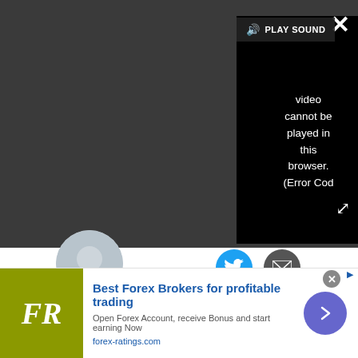[Figure (screenshot): Video player showing error message: 'Video cannot be played in this browser. (Error Cod' with PLAY SOUND button, close X, and expand arrows on dark background]
[Figure (illustration): Author avatar - circular profile photo of person]
[Figure (illustration): Social media icons: Twitter (blue circle) and Email (dark circle)]
Rene Ritchie is one of the most respected Apple analysts in the business, reaching a combined audience of over 40 million readers a month. His YouTube channel, Vector, has over 90 thousand subscribers and 14 million views and his podcasts, including Debug, have been downloaded over 20 million times. He also
[Figure (other): Advertisement banner: FR logo (olive green), 'Best Forex Brokers for profitable trading', 'Open Forex Account, receive Bonus and start earning Now', 'forex-ratings.com', purple arrow button]